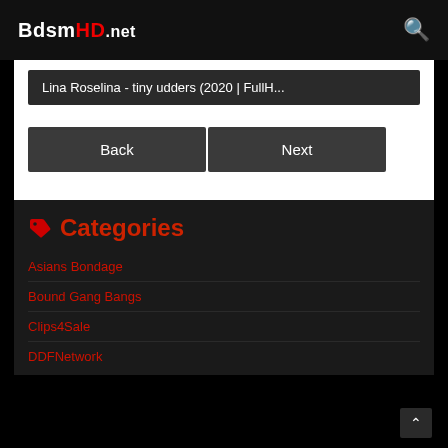BdsmHD.net
Lina Roselina - tiny udders (2020 | FullH...
Back   Next
Categories
Asians Bondage
Bound Gang Bangs
Clips4Sale
DDFNetwork